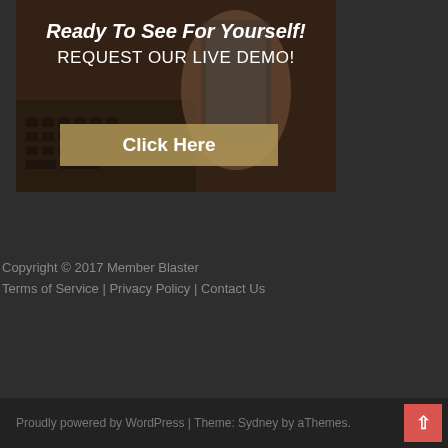[Figure (illustration): Banner image showing hands on a laptop/tablet with text overlay: 'Ready To See For Yourself!' and 'REQUEST OUR LIVE DEMO!' with a gold 'Click Here' button]
Copyright © 2017 Member Blaster
Terms of Service | Privacy Policy | Contact Us
Proudly powered by WordPress | Theme: Sydney by aThemes.